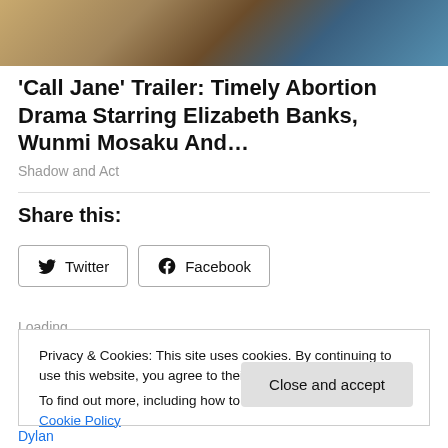[Figure (photo): Film still showing a person in a tan coat with pearl necklace, with colorful background]
'Call Jane' Trailer: Timely Abortion Drama Starring Elizabeth Banks, Wunmi Mosaku And…
Shadow and Act
Share this:
Twitter
Facebook
Loading
Privacy & Cookies: This site uses cookies. By continuing to use this website, you agree to their use.
To find out more, including how to control cookies, see here: Cookie Policy
Close and accept
Dylan